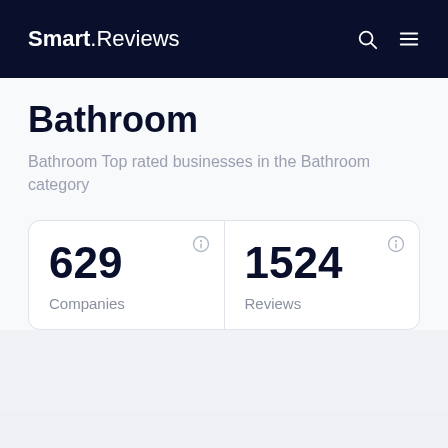Smart.Reviews
Bathroom
Bathroom Top rated businesses in the Bathroom category
| Companies | Reviews |
| --- | --- |
| 629 | 1524 |